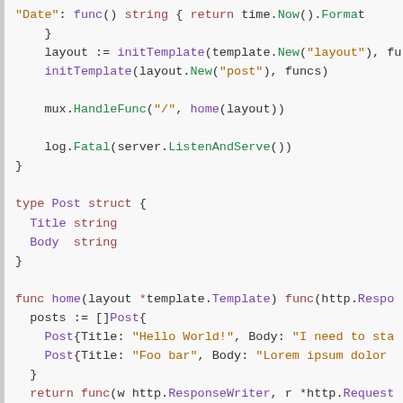[Figure (screenshot): Code snippet in Go language showing struct definition, template initialization, HTTP handler setup, and function definition with syntax highlighting]